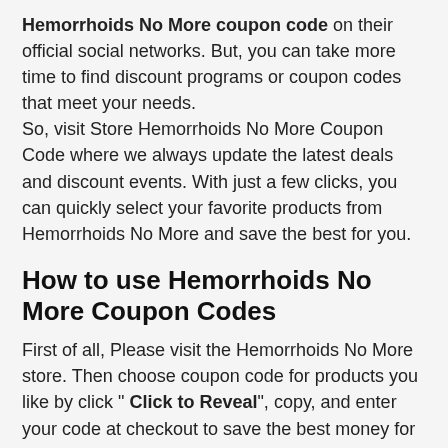Hemorrhoids No More coupon code on their official social networks. But, you can take more time to find discount programs or coupon codes that meet your needs.
So, visit Store Hemorrhoids No More Coupon Code where we always update the latest deals and discount events. With just a few clicks, you can quickly select your favorite products from Hemorrhoids No More and save the best for you.
How to use Hemorrhoids No More Coupon Codes
First of all, Please visit the Hemorrhoids No More store. Then choose coupon code for products you like by click " Click to Reveal", copy, and enter your code at checkout to save the best money for you. If you see a deal ( not a code ), simply click " Active Coupon " and enjoy a big discount now!
Don't forget, share Hemorrhoids No More discount